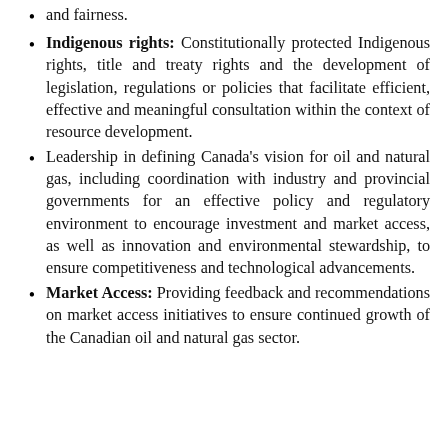and fairness.
Indigenous rights: Constitutionally protected Indigenous rights, title and treaty rights and the development of legislation, regulations or policies that facilitate efficient, effective and meaningful consultation within the context of resource development.
Leadership in defining Canada's vision for oil and natural gas, including coordination with industry and provincial governments for an effective policy and regulatory environment to encourage investment and market access, as well as innovation and environmental stewardship, to ensure competitiveness and technological advancements.
Market Access: Providing feedback and recommendations on market access initiatives to ensure continued growth of the Canadian oil and natural gas sector.